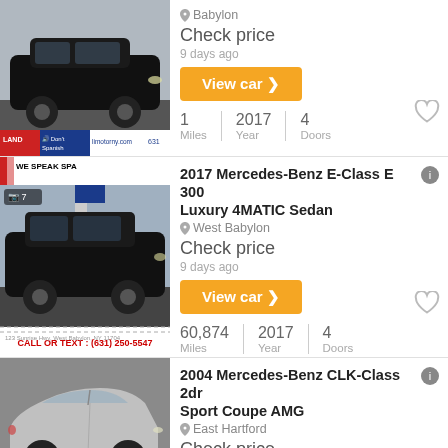[Figure (photo): Black Mercedes-Benz sedan at dealership lot, with dealer branding bar showing 'limotorny.com' and '631']
Babylon
Check price
9 days ago
View car >
1 Miles | 2017 Year | 4 Doors
[Figure (photo): Black Mercedes-Benz E-Class at dealership lot with 'WE SPEAK SPA...' sign visible, 7 photos indicator]
2017 Mercedes-Benz E-Class E 300 Luxury 4MATIC Sedan
West Babylon
Check price
9 days ago
View car >
60,874 Miles | 2017 Year | 4 Doors
[Figure (photo): Silver Mercedes-Benz CLK-Class coupe side profile]
2004 Mercedes-Benz CLK-Class 2dr Sport Coupe AMG
East Hartford
Check price
9 days ago
View car >